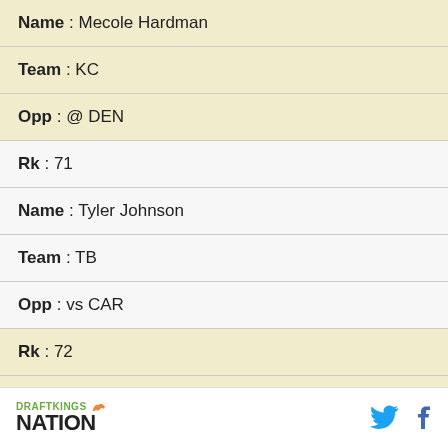| Name | Mecole Hardman |
| Team | KC |
| Opp | @ DEN |
| Rk | 71 |
| Name | Tyler Johnson |
| Team | TB |
| Opp | vs CAR |
| Rk | 72 |
| Name | Emmanuel Sanders |
| Team | BUF |
DRAFTKINGS NATION